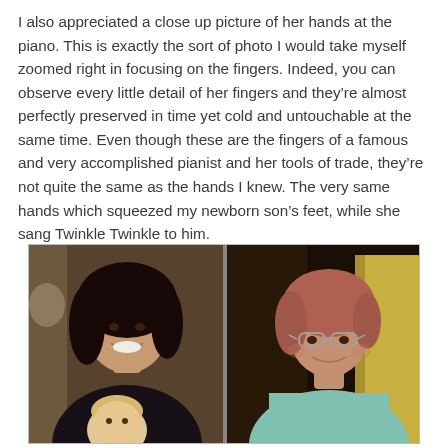I also appreciated a close up picture of her hands at the piano. This is exactly the sort of photo I would take myself zoomed right in focusing on the fingers. Indeed, you can observe every little detail of her fingers and they're almost perfectly preserved in time yet cold and untouchable at the same time. Even though these are the fingers of a famous and very accomplished pianist and her tools of trade, they're not quite the same as the hands I knew. The very same hands which squeezed my newborn son's feet, while she sang Twinkle Twinkle to him.
[Figure (photo): Two-panel photograph. Left panel shows a smiling dark-haired woman holding a young toddler with light hair. Right panel shows an elderly woman with reddish hair and glasses, wearing a light blue/teal top, seated near a yellow chair.]